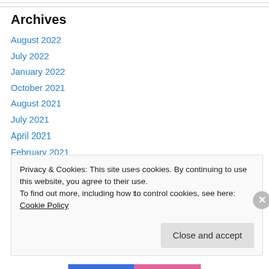Archives
August 2022
July 2022
January 2022
October 2021
August 2021
July 2021
April 2021
February 2021
December 2020
Privacy & Cookies: This site uses cookies. By continuing to use this website, you agree to their use. To find out more, including how to control cookies, see here: Cookie Policy
Close and accept